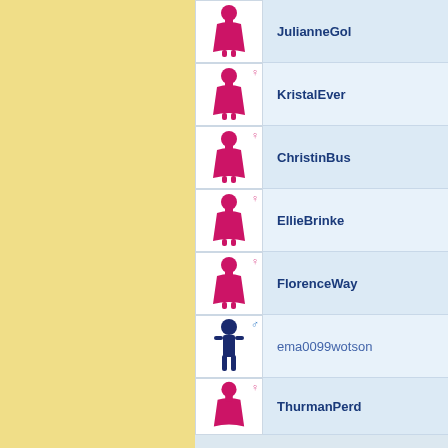[Figure (infographic): User profile list with avatars and usernames. Female/male gender icons with user silhouettes. Users: JulianneGol, KristalEver, ChristinBus, EllieBrinke, FlorenceWay, ema0099wotson, ThurmanPerd]
JulianneGol
KristalEver
ChristinBus
EllieBrinke
FlorenceWay
ema0099wotson
ThurmanPerd